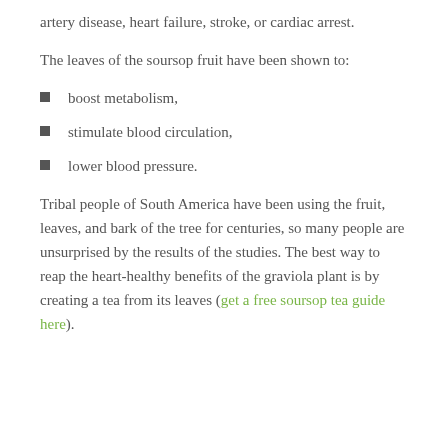artery disease, heart failure, stroke, or cardiac arrest.
The leaves of the soursop fruit have been shown to:
boost metabolism,
stimulate blood circulation,
lower blood pressure.
Tribal people of South America have been using the fruit, leaves, and bark of the tree for centuries, so many people are unsurprised by the results of the studies. The best way to reap the heart-healthy benefits of the graviola plant is by creating a tea from its leaves (get a free soursop tea guide here).